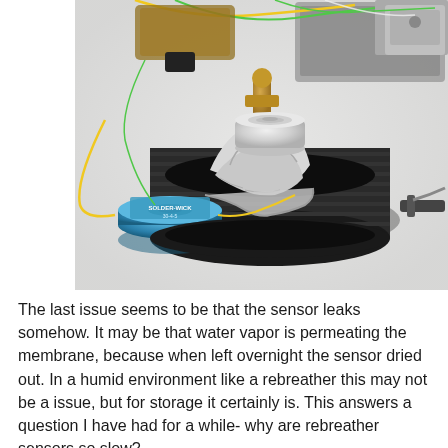[Figure (photo): Close-up photo of a sensor assembly placed inside a black screw-top cap/container. The sensor has a white circular membrane/cap on top, wrapped in white tape or foil material. A blue spool of solder wire with yellow-green wires is visible on the left. Various brass fittings, tubes, and electronic components are visible in the background on a white surface.]
The last issue seems to be that the sensor leaks somehow. It may be that water vapor is permeating the membrane, because when left overnight the sensor dried out. In a humid environment like a rebreather this may not be a issue, but for storage it certainly is. This answers a question I have had for a while- why are rebreather sensors so slow?